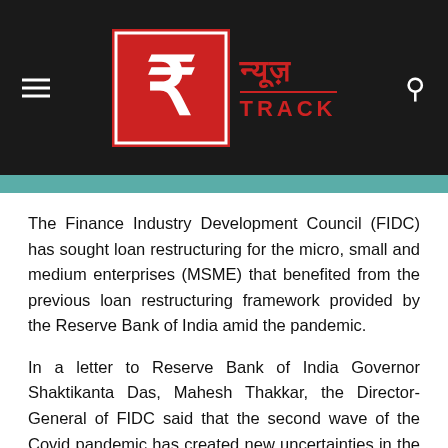न्यूज़ TRACK — News Track (logo header)
The Finance Industry Development Council (FIDC) has sought loan restructuring for the micro, small and medium enterprises (MSME) that benefited from the previous loan restructuring framework provided by the Reserve Bank of India amid the pandemic.
In a letter to Reserve Bank of India Governor Shaktikanta Das, Mahesh Thakkar, the Director-General of FIDC said that the second wave of the Covid pandemic has created new uncertainties in the country's economic revival and MSME customers are